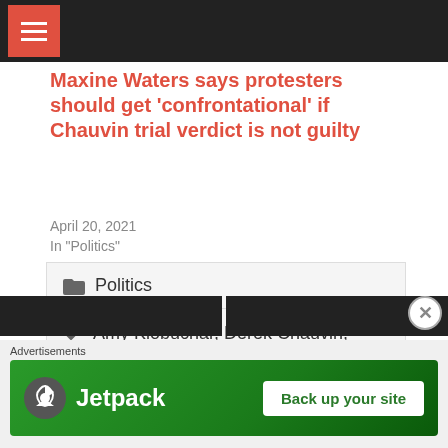Maxine Waters says protesters should get 'confrontational' if Chauvin trial verdict is not guilty
April 20, 2021
In "Politics"
Politics
Amy Klobuchar, Derek Chauvin, George Floyd, Joe Biden, Minnesota, Politics, Vice President
[Figure (other): Advertisements banner - Jetpack: Back up your site]